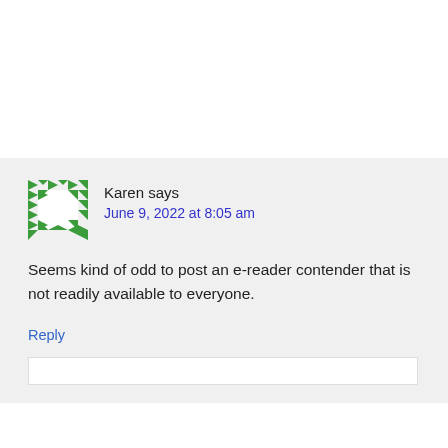Karen says
June 9, 2022 at 8:05 am
Seems kind of odd to post an e-reader contender that is not readily available to everyone.
Reply